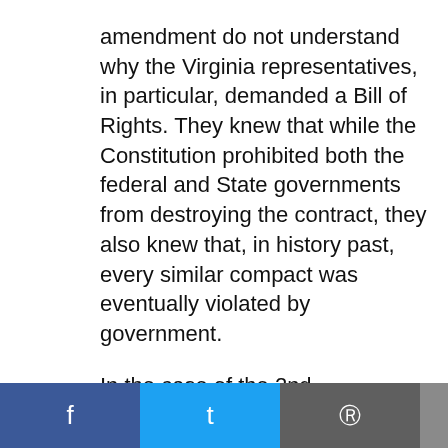amendment do not understand why the Virginia representatives, in particular, demanded a Bill of Rights. They knew that while the Constitution prohibited both the federal and State governments from destroying the contract, they also knew that, in history past, every similar compact was eventually violated by government.
In the case of the 2nd amendment, the Framers had institutionalized Militia, as the statutes defined it, as the only recognized authority “to execute the Laws of the Union”. – See Article I, § 8, Cls. 15 & 16. So, the 2nd is a warning to public officials that “the Militia of the several States” must be maintained.
The colonial Militia had been organized, armed, [and disciplined for ye]ars prior to the [ratification of the Constitution and was not] voluntary. It operated in